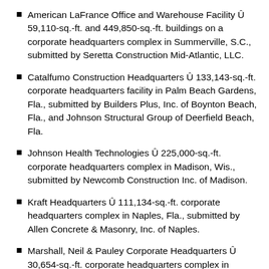American LaFrance Office and Warehouse Facility Û 59,110-sq.-ft. and 449,850-sq.-ft. buildings on a corporate headquarters complex in Summerville, S.C., submitted by Seretta Construction Mid-Atlantic, LLC.
Catalfumo Construction Headquarters Û 133,143-sq.-ft. corporate headquarters facility in Palm Beach Gardens, Fla., submitted by Builders Plus, Inc. of Boynton Beach, Fla., and Johnson Structural Group of Deerfield Beach, Fla.
Johnson Health Technologies Û 225,000-sq.-ft. corporate headquarters complex in Madison, Wis., submitted by Newcomb Construction Inc. of Madison.
Kraft Headquarters Û 111,134-sq.-ft. corporate headquarters complex in Naples, Fla., submitted by Allen Concrete & Masonry, Inc. of Naples.
Marshall, Neil & Pauley Corporate Headquarters Û 30,654-sq.-ft. corporate headquarters complex in Houston, submitted by Powers Brown Architecture of Houston.